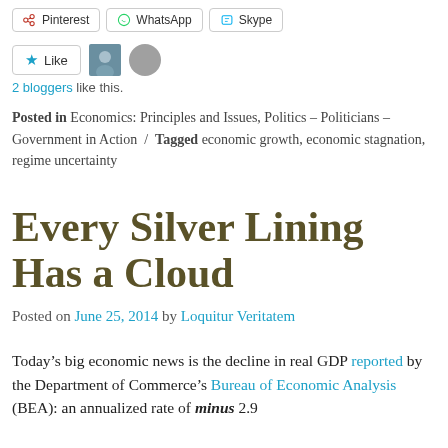[Figure (other): Social sharing buttons: Pinterest, WhatsApp, Skype]
[Figure (other): Like button with star icon and two blogger avatars]
2 bloggers like this.
Posted in Economics: Principles and Issues, Politics – Politicians – Government in Action  /  Tagged economic growth, economic stagnation, regime uncertainty
Every Silver Lining Has a Cloud
Posted on June 25, 2014 by Loquitur Veritatem
Today's big economic news is the decline in real GDP reported by the Department of Commerce's Bureau of Economic Analysis (BEA): an annualized rate of minus 2.9